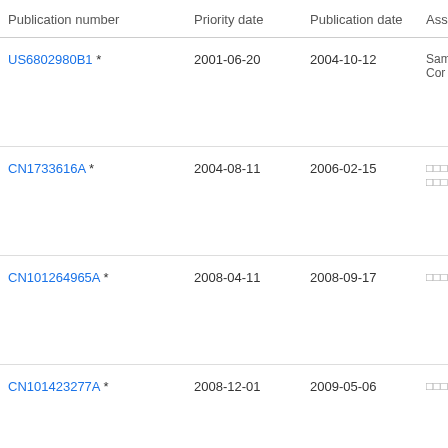| Publication number | Priority date | Publication date | Ass… |
| --- | --- | --- | --- |
| US6802980B1 * | 2001-06-20 | 2004-10-12 | Sam… Cor… |
| CN1733616A * | 2004-08-11 | 2006-02-15 | □□□□ □□□ |
| CN101264965A * | 2008-04-11 | 2008-09-17 | □□□□ |
| CN101423277A * | 2008-12-01 | 2009-05-06 | □□□□ |
| CN1…A * | 2007-07-… | 2010-07-… | □□□□ |